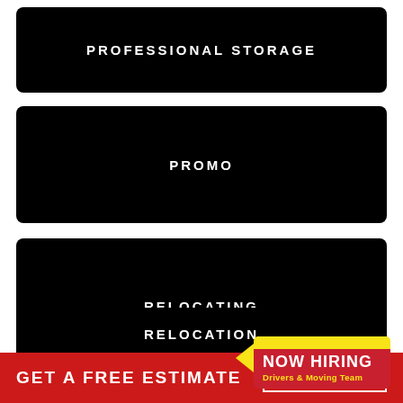[Figure (infographic): Black rounded panel with white text reading PROFESSIONAL STORAGE]
[Figure (infographic): Black rounded panel with white text reading PROMO]
[Figure (infographic): Black rounded panel with white text reading RELOCATING, with a NOW HIRING badge overlaid in yellow and red with text: Drivers & Moving Team]
[Figure (infographic): Black panel at bottom with white text reading RELOCATION]
GET A FREE ESTIMATE   CLICK HERE